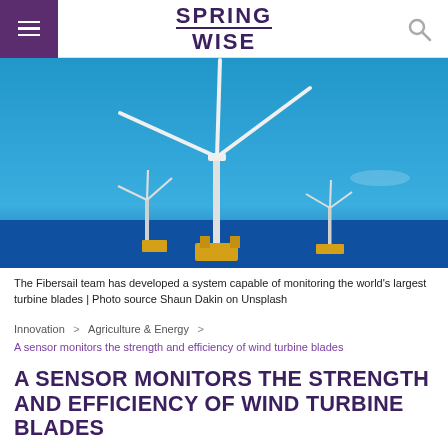SPRINGWISE
[Figure (photo): Offshore wind turbines against a blue sky, with one large turbine in the foreground on a yellow floating platform, and smaller turbines in the background.]
The Fibersail team has developed a system capable of monitoring the world's largest turbine blades | Photo source Shaun Dakin on Unsplash
Innovation > Agriculture & Energy > A sensor monitors the strength and efficiency of wind turbine blades
A SENSOR MONITORS THE STRENGTH AND EFFICIENCY OF WIND TURBINE BLADES